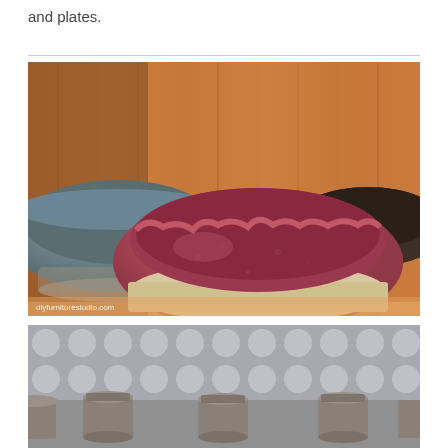and plates.
[Figure (photo): Close-up photo of handmade ceramic bowls on a wooden surface. A pink/mauve textured bowl is in the foreground, a grey-blue bowl is to the left background, and a dark bowl is partially visible on the right. Watermark reads diyfurniturestudio.com]
[Figure (photo): Partial photo showing small handmade ceramic cups or cylinders arranged on a dotted/polka-dot grey surface, shot from above at an angle.]